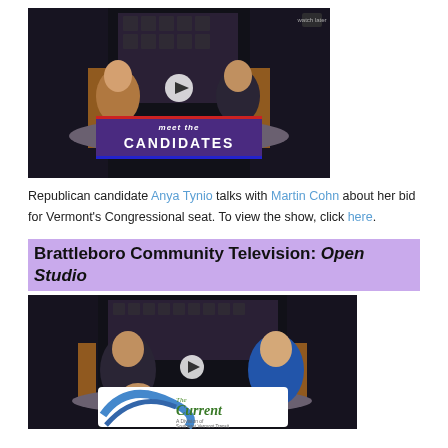[Figure (screenshot): Video thumbnail of Meet the Candidates show featuring Anya Tynio and Martin Cohn seated at a desk, with 'MEET THE CANDIDATES' banner at bottom]
Republican candidate Anya Tynio talks with Martin Cohn about her bid for Vermont's Congressional seat. To view the show, click here.
Brattleboro Community Television: Open Studio
[Figure (screenshot): Video thumbnail of The Current show on Brattleboro Community Television featuring two people seated at a desk]